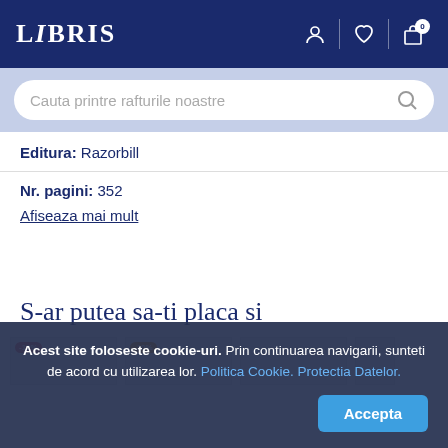LIBRIS
Cauta printre rafturile noastre
Editura: Razorbill
Nr. pagini: 352
Afiseaza mai mult
S-ar putea sa-ti placa si
Acest site foloseste cookie-uri. Prin continuarea navigarii, sunteti de acord cu utilizarea lor. Politica Cookie. Protectia Datelor.
Accepta